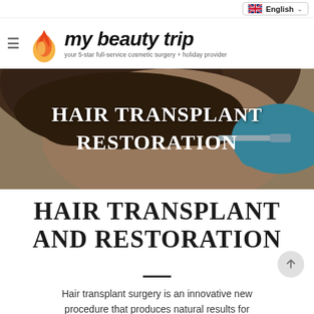English
[Figure (logo): My Beauty Trip logo with flame icon and tagline: your 5-star full-service cosmetic surgery + holiday provider]
[Figure (photo): Hero banner showing hair transplant procedure with text overlay: HAIR TRANSPLANT RESTORATION. Shows a man's head receiving injections with blue-gloved hands.]
HAIR TRANSPLANT AND RESTORATION
Hair transplant surgery is an innovative new procedure that produces natural results for